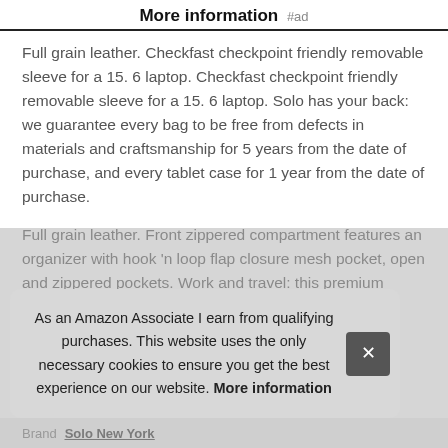More information #ad
Full grain leather. Checkfast checkpoint friendly removable sleeve for a 15. 6 laptop. Checkfast checkpoint friendly removable sleeve for a 15. 6 laptop. Solo has your back: we guarantee every bag to be free from defects in materials and craftsmanship for 5 years from the date of purchase, and every tablet case for 1 year from the date of purchase.
Full grain leather. Front zippered compartment features an organizer with hook 'n loop flap closure mesh pocket, open and zippered pockets. Work and travel: this premium rolling briefcase will keep your laptop and important business documents safe while you're commuting or traveling for bus[iness with professional flair...]
As an Amazon Associate I earn from qualifying purchases. This website uses the only necessary cookies to ensure you get the best experience on our website. More information
Brand Solo New York